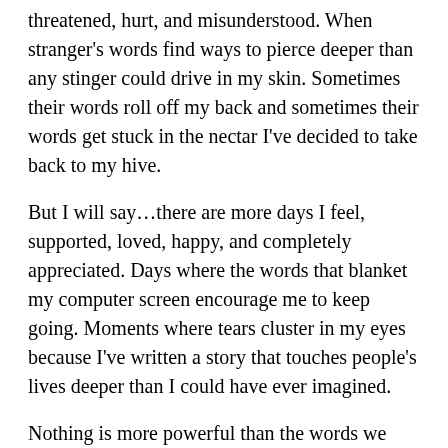threatened, hurt, and misunderstood. When stranger's words find ways to pierce deeper than any stinger could drive in my skin. Sometimes their words roll off my back and sometimes their words get stuck in the nectar I've decided to take back to my hive.
But I will say…there are more days I feel, supported, loved, happy, and completely appreciated. Days where the words that blanket my computer screen encourage me to keep going. Moments where tears cluster in my eyes because I've written a story that touches people's lives deeper than I could have ever imagined.
Nothing is more powerful than the words we say, thoughts we think, and intentions we act upon. So when hours shuffle into days, I truly appreciate every moment my readers have taken to write me a note, an email, a review, or a comment. And just like the bumble bee, which doesn't think of itself as anything more than a worker/producer, I